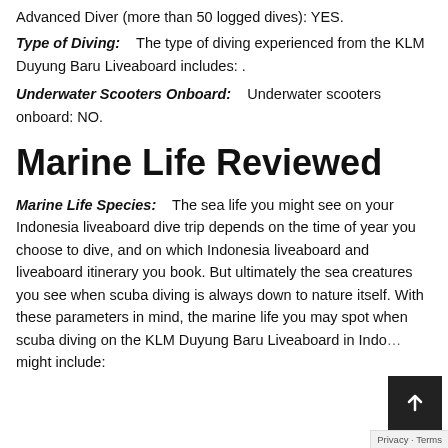Advanced Diver (more than 50 logged dives): YES.
Type of Diving:    The type of diving experienced from the KLM Duyung Baru Liveaboard includes: .
Underwater Scooters Onboard:    Underwater scooters onboard: NO.
Marine Life Reviewed
Marine Life Species:    The sea life you might see on your Indonesia liveaboard dive trip depends on the time of year you choose to dive, and on which Indonesia liveaboard and liveaboard itinerary you book. But ultimately the sea creatures you see when scuba diving is always down to nature itself. With these parameters in mind, the marine life you may spot when scuba diving on the KLM Duyung Baru Liveaboard in Indo… might include: